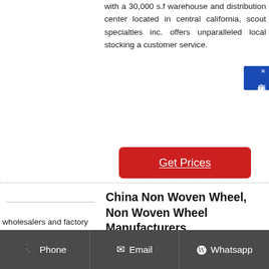with a 30,000 s.f warehouse and distribution center located in central california, scout specialties inc. offers unparalleled local stocking and customer service.
[Figure (other): Red 'Get Prices' button]
[Figure (other): Chinese online chat widget (在线咨询) in blue on right side]
China Non Woven Wheel, Non Woven Wheel Manufacturers
china non woven wheel manufacturers - select 2019 high quality non woven wheel products in best price from
wholesalers and factory
Phone   Email   Whatsapp